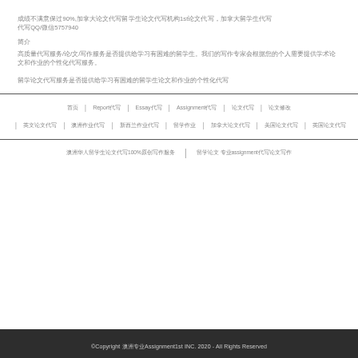成绩不满意保过90%,加拿大论文代写留学生论文代写机构1st论文代写，加拿大留学生代写QQ/微信5757940
简介
高质量代写服务/论/文/写作服务是否提供给学习有困难的留学生。我们的写作专家会根据您的个人需要提供学术论文和作业的个性化代写服务。
首页 | Report代写 | Essay代写 | Assignment代写 | 论文代写 | 论文修改
英文论文代写 | 澳洲作业代写 | 新西兰作业代写 | 留学作业 | 加拿大论文代写 | 美国论文代写 | 英国论文代写
澳洲华人留学生论文代写100%原创写作服务 | 留学论文 专业assignment代写论文写作
©Copyright 澳洲专业Assignment1st INC. 2020 - All Rights Reserved